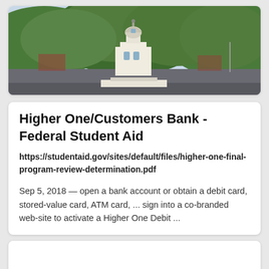[Figure (photo): Campus photo showing a building with a white domed cupola against a green wooded hillside background]
Higher One/Customers Bank - Federal Student Aid
https://studentaid.gov/sites/default/files/higher-one-final-program-review-determination.pdf
Sep 5, 2018 — open a bank account or obtain a debit card, stored-value card, ATM card, ... sign into a co-branded web-site to activate a Higher One Debit ...